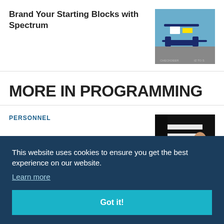Brand Your Starting Blocks with Spectrum
[Figure (photo): Photo of branded blue and white starting blocks equipment in a gymnasium]
MORE IN PROGRAMMING
PERSONNEL
[Figure (photo): Photo of a referee in a striped black and white shirt]
This website uses cookies to ensure you get the best experience on our website.
Learn more
Got it!